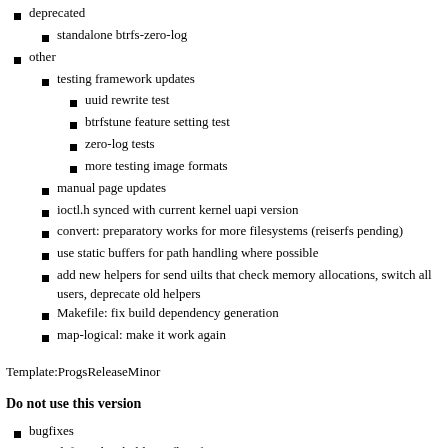deprecated
standalone btrfs-zero-log
other
testing framework updates
uuid rewrite test
btrfstune feature setting test
zero-log tests
more testing image formats
manual page updates
ioctl.h synced with current kernel uapi version
convert: preparatory works for more filesystems (reiserfs pending)
use static buffers for path handling where possible
add new helpers for send uilts that check memory allocations, switch all users, deprecate old helpers
Makefile: fix build dependency generation
map-logical: make it work again
Template:ProgsReleaseMinor
Do not use this version
bugfixes
defrag: threshold overflow fix
fsck:
check if items fit into the leaf space